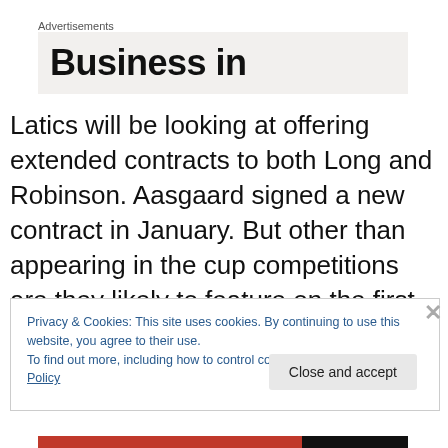Advertisements
[Figure (other): Advertisement banner showing partial text 'Business in' on a light grey background]
Latics will be looking at offering extended contracts to both Long and Robinson. Aasgaard signed a new contract in January. But other than appearing in the cup competitions are they likely to feature on the first team roster? Only Aasgaard was in the squad to face Portsmouth on
Privacy & Cookies: This site uses cookies. By continuing to use this website, you agree to their use.
To find out more, including how to control cookies, see here: Cookie Policy
Close and accept